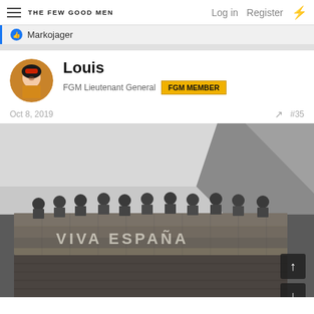THE FEW GOOD MEN | Log in | Register
Markojager
Louis
FGM Lieutenant General  FGM MEMBER
Oct 8, 2019  #35
[Figure (photo): Black and white historical photograph showing soldiers standing behind a sandbag wall with the text 'VIVA ESPAÑA' written on it, with rocky terrain and hillside visible in background.]